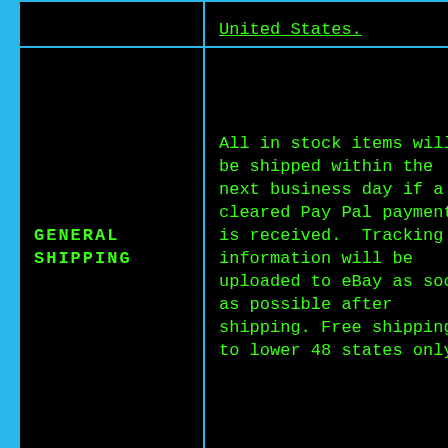| Category | Details |
| --- | --- |
|  | United States. |
| GENERAL SHIPPING | All in stock items will be shipped within the next business day if a cleared Pay Pal payment is received.  Tracking information will be uploaded to eBay as soon as possible after shipping. Free shipping to lower 48 states only |
| INTERNATIONAL | We ship to Canada using USPS International. International buyers are responsible for |